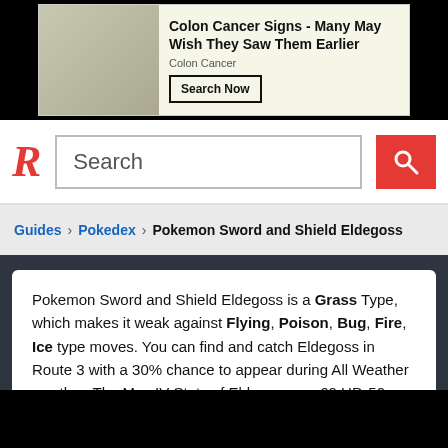[Figure (infographic): Advertisement banner: Colon Cancer Signs - Many May Wish They Saw Them Earlier. Colon Cancer. Search Now button.]
Rankiing website header with logo R and search bar
Guides › Pokedex › Pokemon Sword and Shield Eldegoss
Pokemon Sword and Shield Eldegoss is a Grass Type, which makes it weak against Flying, Poison, Bug, Fire, Ice type moves. You can find and catch Eldegoss in Route 3 with a 30% chance to appear during All Weather weather. The Max IV Stats of Eldegoss are 60 HP, 50 Attack, 80 SP Attack, 90 Defense, 120 SP Defense, and 60 Speed.
[Figure (screenshot): Black video/image area at the bottom of the page]